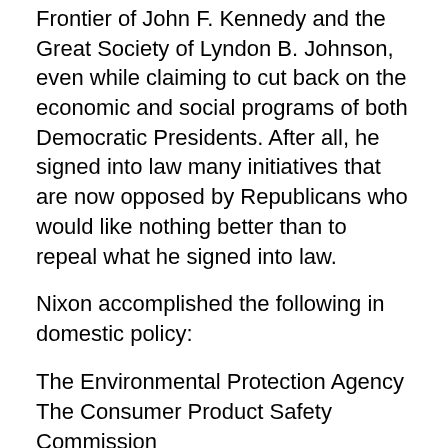Frontier of John F. Kennedy and the Great Society of Lyndon B. Johnson, even while claiming to cut back on the economic and social programs of both Democratic Presidents. After all, he signed into law many initiatives that are now opposed by Republicans who would like nothing better than to repeal what he signed into law.
Nixon accomplished the following in domestic policy:
The Environmental Protection Agency
The Consumer Product Safety Commission
The Occupational Safety and Health Administration
Affirmative Action for Women and Minorities
Appointed Associate Justice Harry Blackmun
Supported the Equal Rights Amendment for